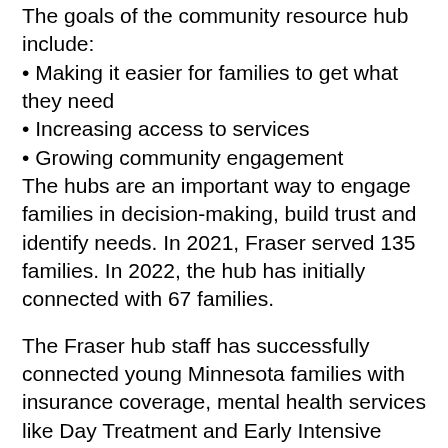The goals of the community resource hub include:
• Making it easier for families to get what they need
• Increasing access to services
• Growing community engagement
The hubs are an important way to engage families in decision-making, build trust and identify needs. In 2021, Fraser served 135 families. In 2022, the hub has initially connected with 67 families.
The Fraser hub staff has successfully connected young Minnesota families with insurance coverage, mental health services like Day Treatment and Early Intensive Developmental and Behavioral Intervention (EIDBI), pediatric therapy services, parent-to-parent support networks, transportation services and food support services, like WIC and SNAP.
Fraser is Minnesota's largest and most experienced